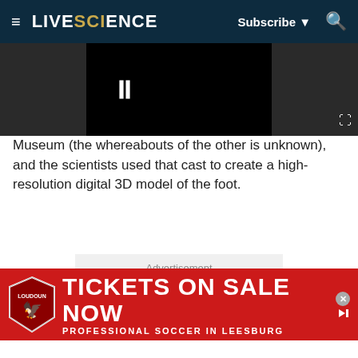LIVE SCIENCE — Subscribe | Search
[Figure (screenshot): Video player with black background showing pause icon, partially overlaid on dark gray background with expand icon in lower right]
Museum (the whereabouts of the other is unknown), and the scientists used that cast to create a high-resolution digital 3D model of the foot.
[Figure (other): Advertisement placeholder box with light gray background]
[Figure (other): Banner advertisement for Loudoun professional soccer: TICKETS ON SALE NOW — PROFESSIONAL SOCCER IN LEESBURG]